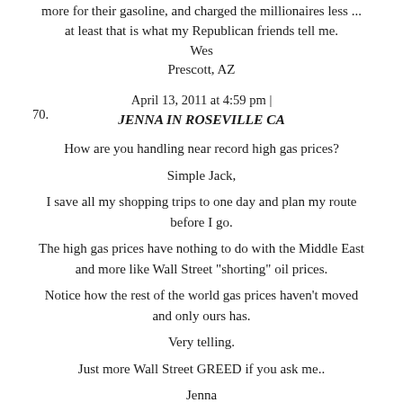more for their gasoline, and charged the millionaires less ... at least that is what my Republican friends tell me.
Wes
Prescott, AZ
April 13, 2011 at 4:59 pm |
70. JENNA IN ROSEVILLE CA
How are you handling near record high gas prices?
Simple Jack,
I save all my shopping trips to one day and plan my route before I go.
The high gas prices have nothing to do with the Middle East and more like Wall Street "shorting" oil prices.
Notice how the rest of the world gas prices haven't moved and only ours has.
Very telling.
Just more Wall Street GREED if you ask me..
Jenna